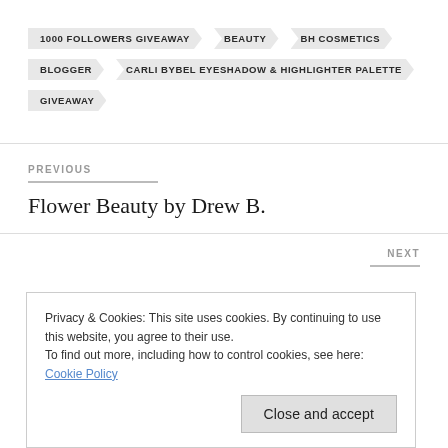1000 FOLLOWERS GIVEAWAY
BEAUTY
BH COSMETICS
BLOGGER
CARLI BYBEL EYESHADOW & HIGHLIGHTER PALETTE
GIVEAWAY
PREVIOUS
Flower Beauty by Drew B.
NEXT
Privacy & Cookies: This site uses cookies. By continuing to use this website, you agree to their use. To find out more, including how to control cookies, see here: Cookie Policy
Close and accept